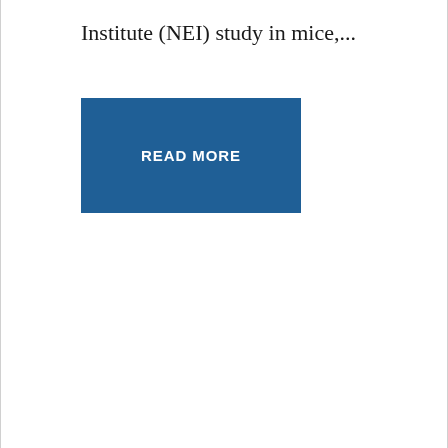Institute (NEI) study in mice,...
READ MORE